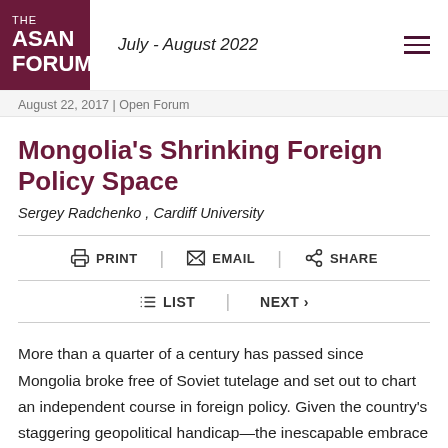THE ASAN FORUM | July - August 2022
August 22, 2017 | Open Forum
Mongolia's Shrinking Foreign Policy Space
Sergey Radchenko , Cardiff University
PRINT | EMAIL | SHARE
LIST | NEXT >
More than a quarter of a century has passed since Mongolia broke free of Soviet tutelage and set out to chart an independent course in foreign policy. Given the country's staggering geopolitical handicap—the inescapable embrace of Russia to the north and China to the